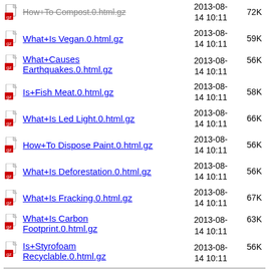How+To Compost.0.html.gz  2013-08-14 10:11  72K
What+Is Vegan.0.html.gz  2013-08-14 10:11  59K
What+Causes Earthquakes.0.html.gz  2013-08-14 10:11  56K
Is+Fish Meat.0.html.gz  2013-08-14 10:11  58K
What+Is Led Light.0.html.gz  2013-08-14 10:11  66K
How+To Dispose Paint.0.html.gz  2013-08-14 10:11  56K
What+Is Deforestation.0.html.gz  2013-08-14 10:11  56K
What+Is Fracking.0.html.gz  2013-08-14 10:11  67K
What+Is Carbon Footprint.0.html.gz  2013-08-14 10:11  63K
Is+Styrofoam Recyclable.0.html.gz  2013-08-14 10:11  56K
Apache/2.4.52 (Ubuntu) Server at personalization.ccs.neu.edu Port 443